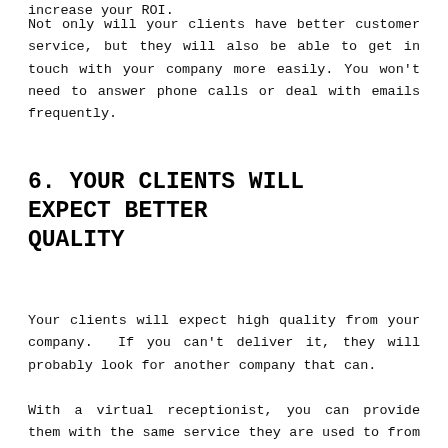increase your ROI.
Not only will your clients have better customer service, but they will also be able to get in touch with your company more easily. You won't need to answer phone calls or deal with emails frequently.
6. YOUR CLIENTS WILL EXPECT BETTER QUALITY
Your clients will expect high quality from your company. If you can't deliver it, they will probably look for another company that can.
With a virtual receptionist, you can provide them with the same service they are used to from you.